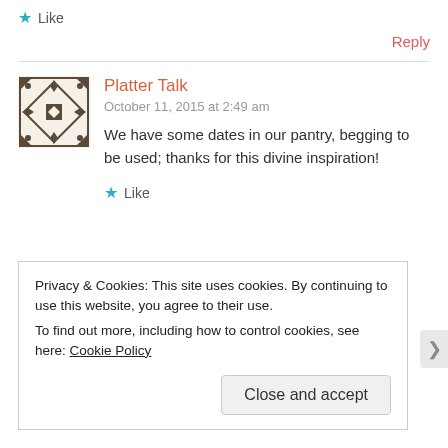★ Like
Reply
Platter Talk
October 11, 2015 at 2:49 am
We have some dates in our pantry, begging to be used; thanks for this divine inspiration!
★ Like
Privacy & Cookies: This site uses cookies. By continuing to use this website, you agree to their use.
To find out more, including how to control cookies, see here: Cookie Policy